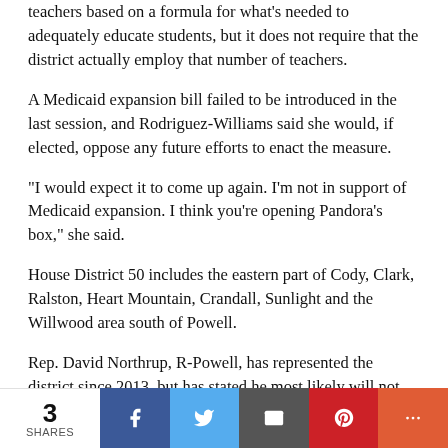teachers based on a formula for what's needed to adequately educate students, but it does not require that the district actually employ that number of teachers.
A Medicaid expansion bill failed to be introduced in the last session, and Rodriguez-Williams said she would, if elected, oppose any future efforts to enact the measure.
“I would expect it to come up again. I’m not in support of Medicaid expansion. I think you’re opening Pandora’s box,” she said.
House District 50 includes the eastern part of Cody, Clark, Ralston, Heart Mountain, Crandall, Sunlight and the Willwood area south of Powell.
Rep. David Northrup, R-Powell, has represented the district since 2013, but has stated he most likely will not run again. If he does, it would be the first time Northrup has had a challenge for the Republican nomination since 2014.
The official filing period for candidates runs from May 14-29. Wyoming’s primary election is Aug. 18.